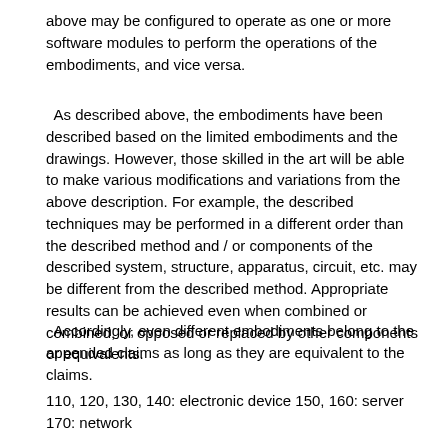above may be configured to operate as one or more software modules to perform the operations of the embodiments, and vice versa.
As described above, the embodiments have been described based on the limited embodiments and the drawings. However, those skilled in the art will be able to make various modifications and variations from the above description. For example, the described techniques may be performed in a different order than the described method and / or components of the described system, structure, apparatus, circuit, etc. may be different from the described method. Appropriate results can be achieved even when combined or combined, or opposed or replaced by other components or equivalents.
Accordingly, even different embodiments belong to the appended claims as long as they are equivalent to the claims.
110, 120, 130, 140: electronic device 150, 160: server 170: network